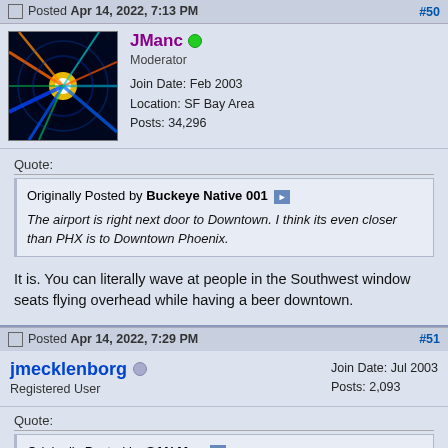Posted Apr 14, 2022, 7:13 PM #50
[Figure (photo): Avatar image showing colorful abstract light rays on dark background]
JManc
Moderator
Join Date: Feb 2003
Location: SF Bay Area
Posts: 34,296
Quote:
Originally Posted by Buckeye Native 001
The airport is right next door to Downtown. I think its even closer than PHX is to Downtown Phoenix.
It is. You can literally wave at people in the Southwest window seats flying overhead while having a beer downtown.
Posted Apr 14, 2022, 7:29 PM #51
jmecklenborg
Registered User
Join Date: Jul 2003
Posts: 2,093
Quote:
Originally Posted by SAN Man
California cities have dense suburbia, which is quite different from suburban midwest cities. Western cities